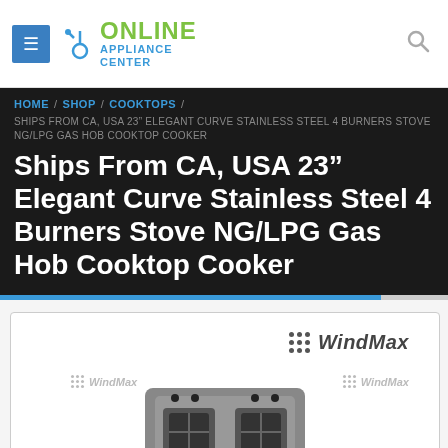Online Appliance Center
HOME / SHOP / COOKTOPS / SHIPS FROM CA, USA 23” ELEGANT CURVE STAINLESS STEEL 4 BURNERS STOVE NG/LPG GAS HOB COOKTOP COOKER
Ships From CA, USA 23” Elegant Curve Stainless Steel 4 Burners Stove NG/LPG Gas Hob Cooktop Cooker
[Figure (photo): WindMax branded stainless steel 4-burner gas hob cooktop cooker product image with multiple WindMax watermarks]